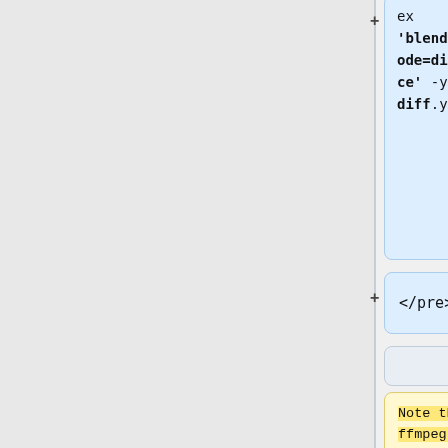[Figure (screenshot): Diff/comparison UI showing two code comment boxes side by side. Top right: blue box with code snippet ending in 'ex', "'blend=all_mode=difference'  -y diff.y4m". Below: blue box with '</pre>'. Middle row: two gray connector boxes. Bottom: yellow box (left) with text 'Note that ffmpeg is optimized for speed. You may not get repeatable results across machines.' and blue box (right) with text 'This actually compares the video with itself, but offset by 1 frame or 0.03 seconds.' Plus/minus change markers visible on left edge.]